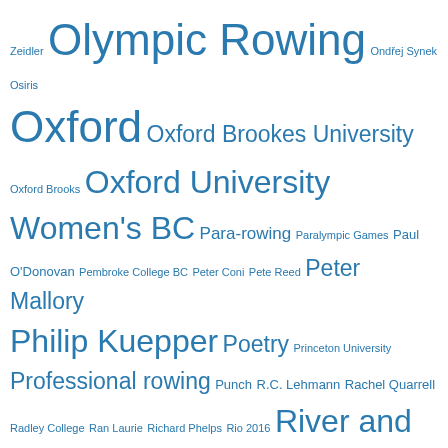[Figure (other): Tag cloud of rowing-related topics in blue text at various font sizes, including Olympic Rowing, Oxford, River and Rowing Museum, Rowing Books, Rowing Films, Philip Kuepper, Peter Mallory, and many others.]